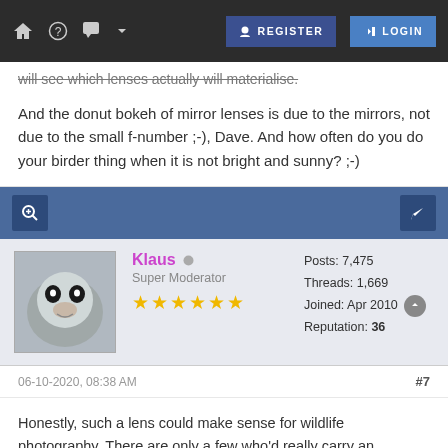Navigation bar with home, help, chat, REGISTER, LOGIN icons
will see which lenses actually will materialise.
And the donut bokeh of mirror lenses is due to the mirrors, not due to the small f-number ;-), Dave. And how often do you do your birder thing when it is not bright and sunny? ;-)
[Figure (screenshot): Forum action bar with search/zoom icon on left and reply icon on right, dark blue background]
Klaus  Super Moderator  ★★★★★★  Posts: 7,475  Threads: 1,669  Joined: Apr 2010  Reputation: 36
06-10-2020, 08:38 AM   #7
Honestly, such a lens could make sense for wildlife photography. There are only a few who'd really carry an